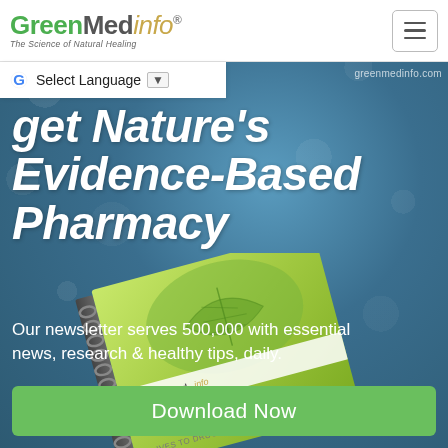[Figure (logo): GreenMedInfo logo with tagline 'The Science of Natural Healing']
Select Language ▼
greenmedinfo.com
get Nature's Evidence-Based Pharmacy
Our newsletter serves 500,000 with essential news, research & healthy tips, daily.
Download Now
[Figure (photo): GreenMedInfo spiral-bound book titled 'Nature's Pharmacy' with a leaf on the cover, partially visible at the bottom of the page]